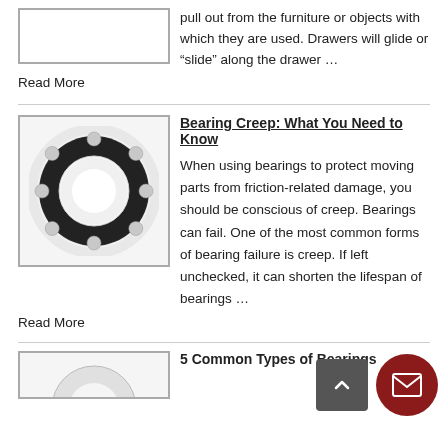[Figure (photo): Rectangular image placeholder box (drawer slide or furniture hardware image, cropped at top)]
pull out from the furniture or objects with which they are used. Drawers will glide or “slide” along the drawer …
Read More
[Figure (photo): White ceramic ball bearing ring with visible steel balls and inner ring on white background]
Bearing Creep: What You Need to Know
When using bearings to protect moving parts from friction-related damage, you should be conscious of creep. Bearings can fail. One of the most common forms of bearing failure is creep. If left unchecked, it can shorten the lifespan of bearings … Read More
[Figure (photo): Partial image of bearing or mechanical component at bottom, cropped]
5 Common Types of Bearings